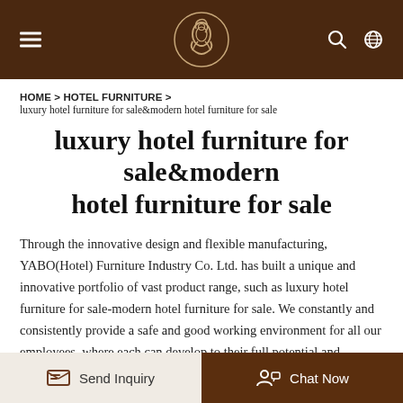YABO Hotel Furniture Industry Co. Ltd. — Navigation header with logo, menu, search, and language icons
HOME > HOTEL FURNITURE > luxury hotel furniture for sale&modern hotel furniture for sale
luxury hotel furniture for sale&modern hotel furniture for sale
Through the innovative design and flexible manufacturing, YABO(Hotel) Furniture Industry Co. Ltd. has built a unique and innovative portfolio of vast product range, such as luxury hotel furniture for sale-modern hotel furniture for sale. We constantly and consistently provide a safe and good working environment for all our employees, where each can develop to their full potential and contribute to our joint goals – maintain and
Send Inquiry | Chat Now